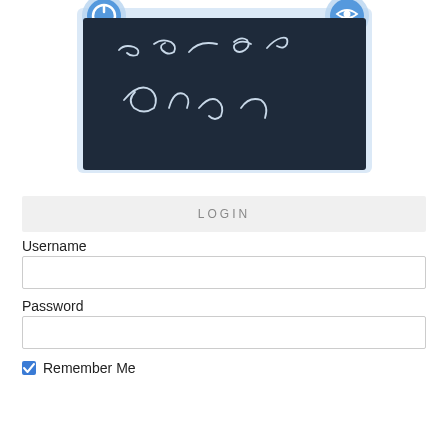[Figure (screenshot): Application logo area showing a dark navy/slate colored panel with white handwritten-style cursive text and two circular icon badges on the upper corners (left: blue circular power/app icon, right: blue circular icon). The dark panel contains white cursive handwriting.]
LOGIN
Username
Password
Remember Me